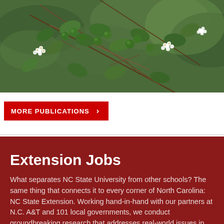[Figure (photo): Close-up photo of white flowering plant with green leaves and round green berries on branches against a blurred green background.]
MORE PUBLICATIONS ›
Extension Jobs
What separates NC State University from other schools? The same thing that connects it to every corner of North Carolina: NC State Extension. Working hand-in-hand with our partners at N.C. A&T and 101 local governments, we conduct groundbreaking research that addresses real-world issues in